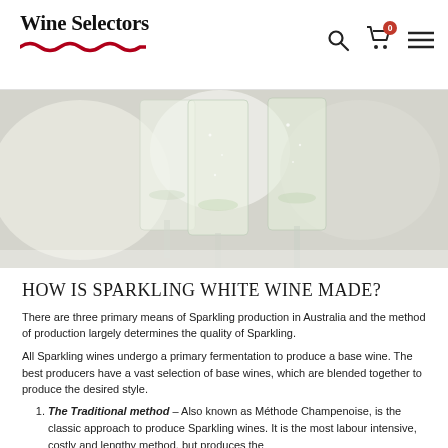Wine Selectors
[Figure (photo): Close-up photo of three champagne flutes filled with sparkling white wine on a light background]
HOW IS SPARKLING WHITE WINE MADE?
There are three primary means of Sparkling production in Australia and the method of production largely determines the quality of Sparkling.
All Sparkling wines undergo a primary fermentation to produce a base wine. The best producers have a vast selection of base wines, which are blended together to produce the desired style.
The Traditional method – Also known as Méthode Champenoise, is the classic approach to produce Sparkling wines. It is the most labour intensive, costly and lengthy method, but produces the